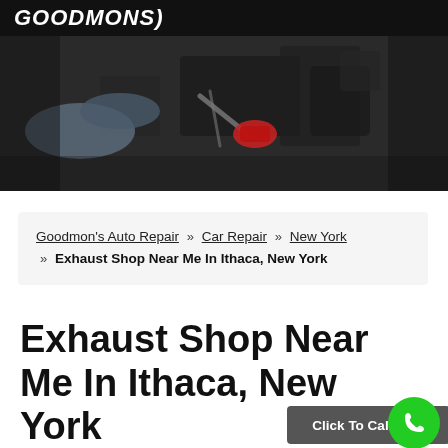GOODMONS
[Figure (photo): Mechanic hands working on car engine components, dark background]
Goodmon's Auto Repair » Car Repair » New York » Exhaust Shop Near Me In Ithaca, New York
Exhaust Shop Near Me In Ithaca, New York
Click To Call Now